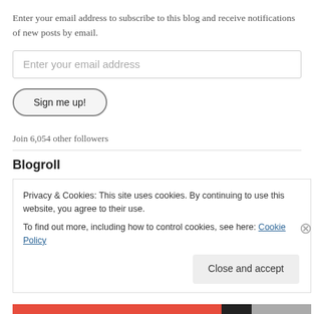Enter your email address to subscribe to this blog and receive notifications of new posts by email.
Enter your email address
Sign me up!
Join 6,054 other followers
Blogroll
a common reader
Privacy & Cookies: This site uses cookies. By continuing to use this website, you agree to their use.
To find out more, including how to control cookies, see here: Cookie Policy
Close and accept